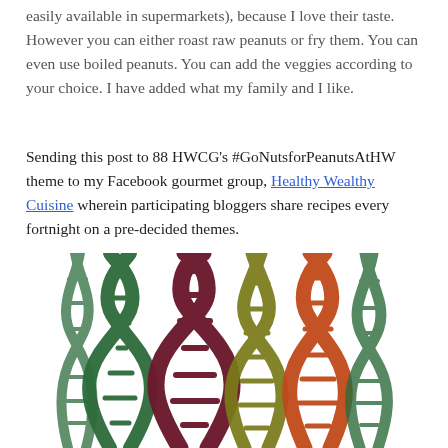easily available in supermarkets), because I love their taste. However you can either roast raw peanuts or fry them. You can even use boiled peanuts. You can add the veggies according to your choice. I have added what my family and I like.
Sending this post to 88 HWCG's #GoNutsforPeanutsAtHW theme to my Facebook gourmet group, Healthy Wealthy Cuisine wherein participating bloggers share recipes every fortnight on a pre-decided themes.
[Figure (illustration): Colorful illustration of stylized DNA double helix strands arranged in a fan/bouquet shape, in colors including dark green, dark red/maroon, olive/gold, and orange-red, resembling plant stems or feathers.]